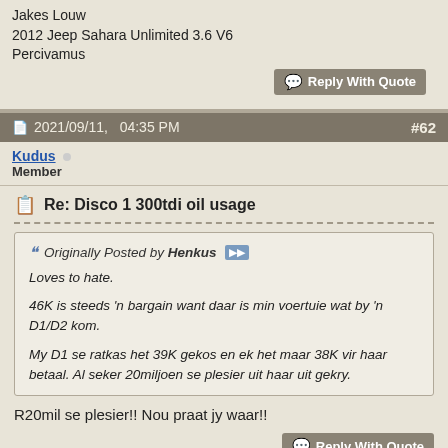Jakes Louw
2012 Jeep Sahara Unlimited 3.6 V6
Percivamus
Reply With Quote
2021/09/11, 04:35 PM  #62
Kudus
Member
Re: Disco 1 300tdi oil usage
Originally Posted by Henkus
Loves to hate.
46K is steeds 'n bargain want daar is min voertuie wat by 'n D1/D2 kom.
My D1 se ratkas het 39K gekos en ek het maar 38K vir haar betaal. Al seker 20miljoen se plesier uit haar uit gekry.
R20mil se plesier!! Nou praat jy waar!!
Reply With Quote
The Following User Says Thank You to Kudus For This Useful Post: